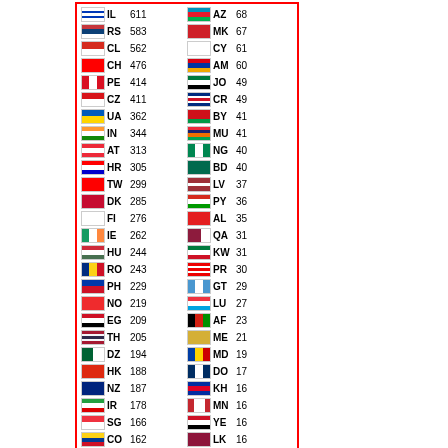[Figure (infographic): Flag counter widget showing country flags with 2-letter country codes and pageview counts. Left column: IL 611, RS 583, CL 562, CH 476, PE 414, CZ 411, UA 362, IN 344, AT 313, HR 305, TW 299, DK 285, FI 276, IE 262, HU 244, RO 243, PH 229, NO 219, EG 209, TH 205, DZ 194, HK 188, NZ 187, IR 178, SG 166, CO 162, MA 160. Right column: AZ 68, MK 67, CY 61, AM 60, JO 49, CR 49, BY 41, MU 41, NG 40, BD 40, LV 37, PY 36, AL 35, QA 31, KW 31, PR 30, GT 29, LU 27, AF 23, ME 21, MD 19, DO 17, KH 16, MN 16, YE 16, LK 16, PA 15. Pageviews: 150,116. Footer shows FLAG counter logo.]